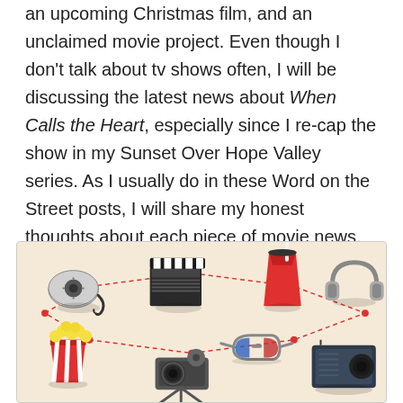an upcoming Christmas film, and an unclaimed movie project. Even though I don't talk about tv shows often, I will be discussing the latest news about When Calls the Heart, especially since I recap the show in my Sunset Over Hope Valley series. As I usually do in these Word on the Street posts, I will share my honest thoughts about each piece of movie news. So, let's get started with talking about these projects!
[Figure (illustration): Isometric illustration of movie and entertainment items (film reel, clapperboard, soda cup, headphones, popcorn bucket, movie camera, 3D glasses, projector/speaker) connected by dashed red lines on a beige background.]